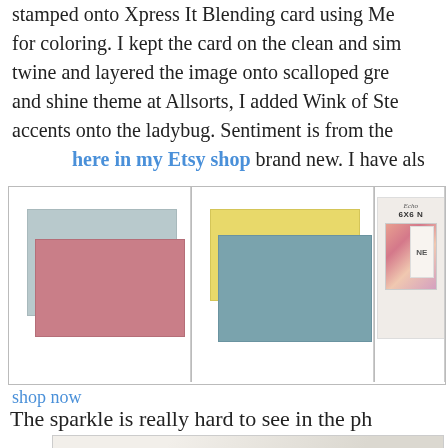stamped onto Xpress It Blending card using Memento for coloring. I kept the card on the clean and simple twine and layered the image onto scalloped gre and shine theme at Allsorts, I added Wink of Ste accents onto the ladybug. Sentiment is from the here in my Etsy shop brand new. I have als
[Figure (photo): Product images showing cardstock paper packs in blue-gray/pink and yellow/blue-gray color combinations, and a 6x6 paper pad labeled NEW]
shop now
The sparkle is really hard to see in the ph
[Figure (photo): Photo showing a light-colored card or paper craft project, partially visible]